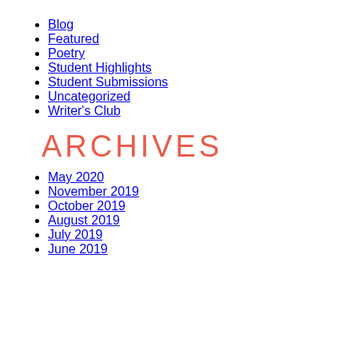Blog
Featured
Poetry
Student Highlights
Student Submissions
Uncategorized
Writer's Club
ARCHIVES
May 2020
November 2019
October 2019
August 2019
July 2019
June 2019